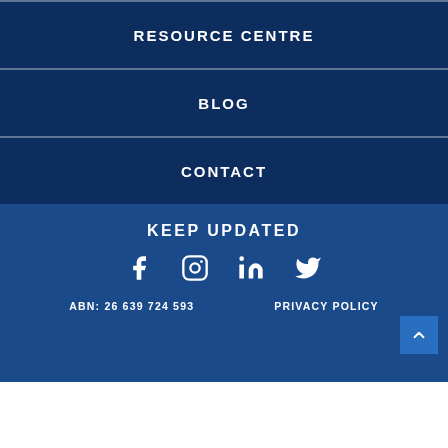RESOURCE CENTRE
BLOG
CONTACT
KEEP UPDATED
[Figure (illustration): Social media icons: Facebook, Instagram, LinkedIn, Twitter]
ABN: 26 639 724 593   PRIVACY POLICY